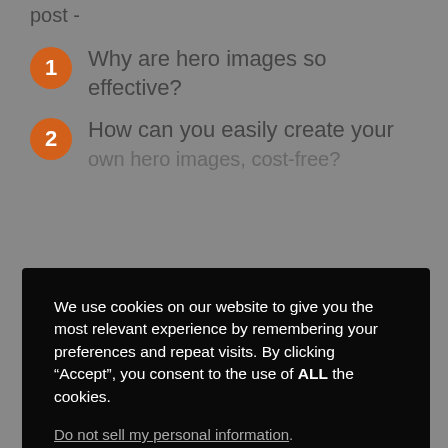post -
1 Why are hero images so effective?
2 How can you easily create your own hero images, cost-free?
We use cookies on our website to give you the most relevant experience by remembering your preferences and repeat visits. By clicking “Accept”, you consent to the use of ALL the cookies.
Do not sell my personal information.
Cookie Settings
Accept
landing pages and homepage.
So, are you ready? Let’s get started.
Why are hero